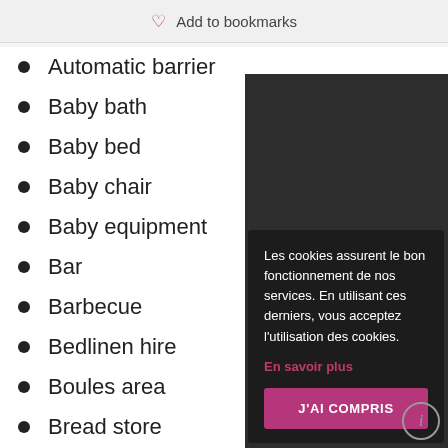Add to bookmarks
Automatic barrier
Baby bath
Baby bed
Baby chair
Baby equipment
Bar
Barbecue
Bedlinen hire
Boules area
Bread store
Camper van service area
Les cookies assurent le bon fonctionnement de nos services. En utilisant ces derniers, vous acceptez l'utilisation des cookies.
En savoir plus
J'AI COMPRIS